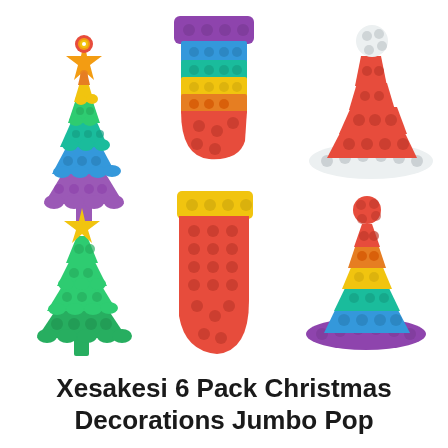[Figure (illustration): Six Christmas-themed silicone pop fidget toys arranged in a 3x2 grid on a white background. Top row: a rainbow-colored Christmas tree, a rainbow stocking, and a red and white Santa hat. Bottom row: a solid green Christmas tree, a rainbow stocking with red body, and a rainbow Santa hat with purple brim.]
Xesakesi 6 Pack Christmas Decorations Jumbo Pop